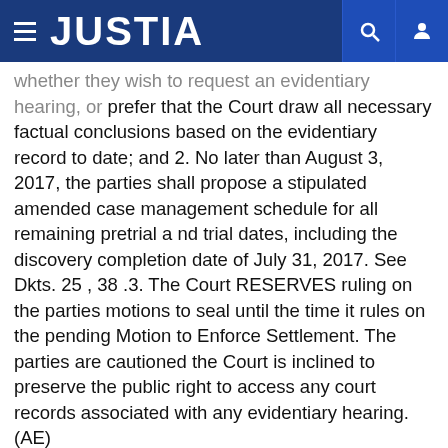JUSTIA
whether they wish to request an evidentiary hearing, or prefer that the Court draw all necessary factual conclusions based on the evidentiary record to date; and 2. No later than August 3, 2017, the parties shall propose a stipulated amended case management schedule for all remaining pretrial a nd trial dates, including the discovery completion date of July 31, 2017. See Dkts. 25 , 38 .3. The Court RESERVES ruling on the parties motions to seal until the time it rules on the pending Motion to Enforce Settlement. The parties are cautioned the Court is inclined to preserve the public right to access any court records associated with any evidentiary hearing.(AE)
Download PDF